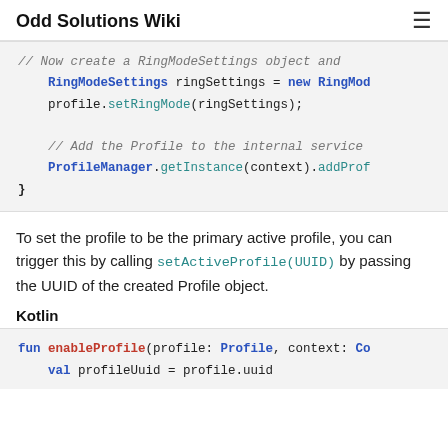Odd Solutions Wiki
[Figure (screenshot): Code block showing RingModeSettings and ProfileManager code in Java/Kotlin with syntax highlighting]
To set the profile to be the primary active profile, you can trigger this by calling setActiveProfile(UUID) by passing the UUID of the created Profile object.
Kotlin
[Figure (screenshot): Code block showing Kotlin function enableProfile with profile: Profile and context parameters, and val profileUuid = profile.uuid]